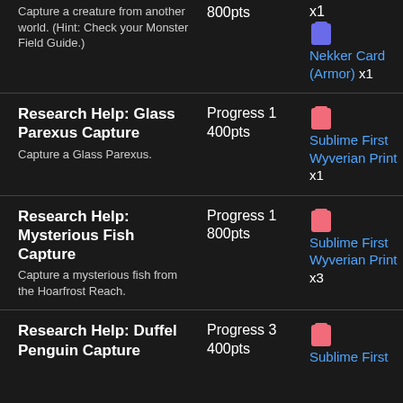[partial top] Capture a creature from another world. (Hint: Check your Monster Field Guide.) | 800pts | x1 | Nekker Card (Armor) x1
Research Help: Glass Parexus Capture | Capture a Glass Parexus. | Progress 1 400pts | Sublime First Wyverian Print x1
Research Help: Mysterious Fish Capture | Capture a mysterious fish from the Hoarfrost Reach. | Progress 1 800pts | Sublime First Wyverian Print x3
Research Help: Duffel Penguin Capture | Progress 3 400pts | Sublime First [continues]